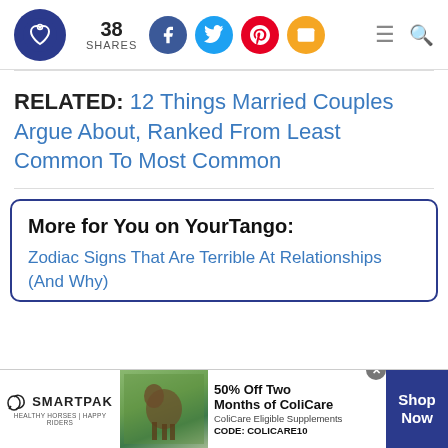38 SHARES — social share bar with Facebook, Twitter, Pinterest, Email icons; hamburger menu and search icons
RELATED: 12 Things Married Couples Argue About, Ranked From Least Common To Most Common
More for You on YourTango:
Zodiac Signs That Are Terrible At Relationships (And Why)
[Figure (other): SmartPak advertisement: 50% Off Two Months of ColiCare, ColiCare Eligible Supplements, CODE: COLICARE10. Shop Now button.]